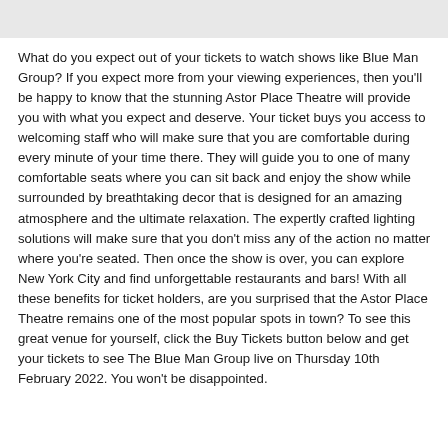What do you expect out of your tickets to watch shows like Blue Man Group? If you expect more from your viewing experiences, then you'll be happy to know that the stunning Astor Place Theatre will provide you with what you expect and deserve. Your ticket buys you access to welcoming staff who will make sure that you are comfortable during every minute of your time there. They will guide you to one of many comfortable seats where you can sit back and enjoy the show while surrounded by breathtaking decor that is designed for an amazing atmosphere and the ultimate relaxation. The expertly crafted lighting solutions will make sure that you don't miss any of the action no matter where you're seated. Then once the show is over, you can explore New York City and find unforgettable restaurants and bars! With all these benefits for ticket holders, are you surprised that the Astor Place Theatre remains one of the most popular spots in town? To see this great venue for yourself, click the Buy Tickets button below and get your tickets to see The Blue Man Group live on Thursday 10th February 2022. You won't be disappointed.